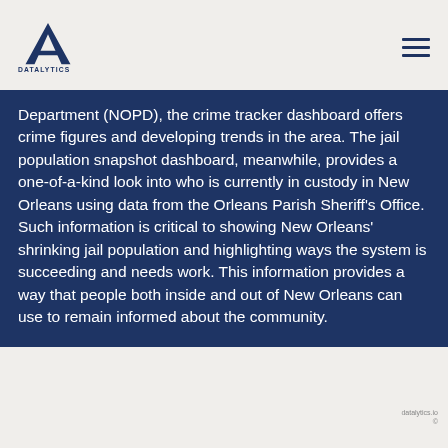DATALYTICS logo and hamburger menu
Department (NOPD), the crime tracker dashboard offers crime figures and developing trends in the area. The jail population snapshot dashboard, meanwhile, provides a one-of-a-kind look into who is currently in custody in New Orleans using data from the Orleans Parish Sheriff's Office. Such information is critical to showing New Orleans' shrinking jail population and highlighting ways the system is succeeding and needs work. This information provides a way that people both inside and out of New Orleans can use to remain informed about the community.